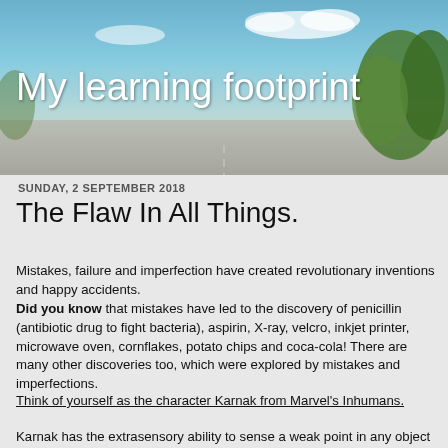[Figure (photo): Blog header banner with blue sky, road, and trees background image with white text 'My learning footprint']
My learning footprint
SUNDAY, 2 SEPTEMBER 2018
The Flaw In All Things.
Mistakes, failure and imperfection have created revolutionary inventions and happy accidents. Did you know that mistakes have led to the discovery of penicillin (antibiotic drug to fight bacteria), aspirin, X-ray, velcro, inkjet printer, microwave oven, cornflakes, potato chips and coca-cola! There are many other discoveries too, which were explored by mistakes and imperfections.
Think of yourself as the character Karnak from Marvel's Inhumans.
Karnak has the extrasensory ability to sense a weak point in any object or person around him. By applying pressure o: